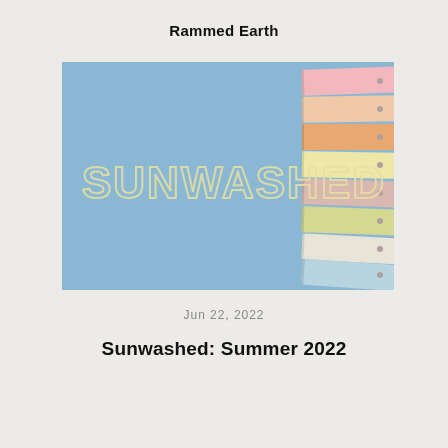Rammed Earth
[Figure (photo): A promotional image for 'Sunwashed: Summer 2022' showing the word SUNWASHED in large pale yellow outlined letters against a light blue sky background. On the right side, a fan of pastel-colored paint swatches (pink, peach, orange, yellow, light green, white, and light blue) is fanned out vertically.]
Jun 22, 2022
Sunwashed: Summer 2022